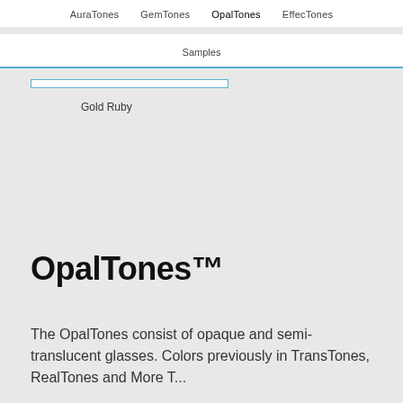AuraTones   GemTones   OpalTones   EffecTones
Samples
Gold Ruby
OpalTones™
The OpalTones consist of opaque and semi-translucent glasses. Colors previously in TransTones, RealTones and More Tones...